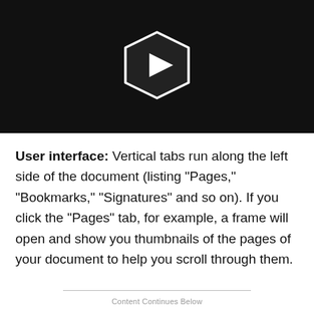[Figure (other): Black video thumbnail banner with a pentagon-shaped play button icon (dark pentagon with white triangle play symbol) centered on black background]
User interface: Vertical tabs run along the left side of the document (listing "Pages," "Bookmarks," "Signatures" and so on). If you click the "Pages" tab, for example, a frame will open and show you thumbnails of the pages of your document to help you scroll through them.
Content Continues Below